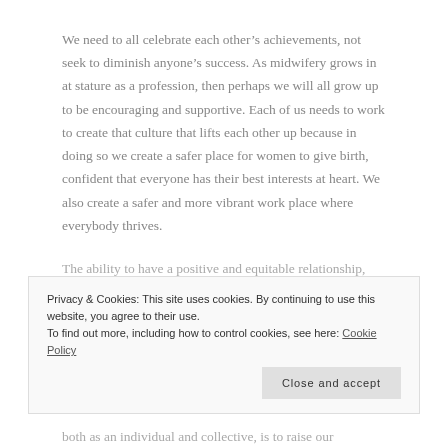We need to all celebrate each other’s achievements, not seek to diminish anyone’s success. As midwifery grows in at stature as a profession, then perhaps we will all grow up to be encouraging and supportive. Each of us needs to work to create that culture that lifts each other up because in doing so we create a safer place for women to give birth, confident that everyone has their best interests at heart. We also create a safer and more vibrant work place where everybody thrives.
The ability to have a positive and equitable relationship,
Privacy & Cookies: This site uses cookies. By continuing to use this website, you agree to their use.
To find out more, including how to control cookies, see here: Cookie Policy
Close and accept
both as an individual and collective, is to raise our